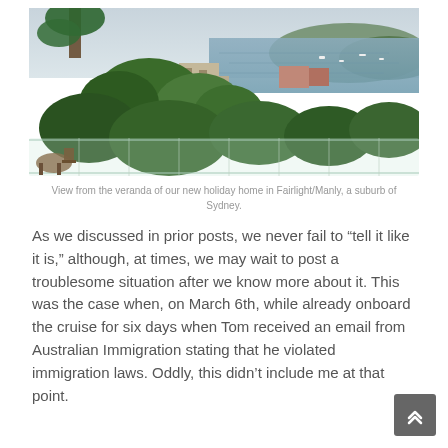[Figure (photo): Aerial/elevated view from a veranda overlooking lush green trees, a harbour with boats, and suburban buildings in Fairlight/Manly, a suburb of Sydney, Australia. Overcast sky in the background.]
View from the veranda of our new holiday home in Fairlight/Manly, a suburb of Sydney.
As we discussed in prior posts, we never fail to “tell it like it is,” although, at times, we may wait to post a troublesome situation after we know more about it. This was the case when, on March 6th, while already onboard the cruise for six days when Tom received an email from Australian Immigration stating that he violated immigration laws. Oddly, this didn’t include me at that point.